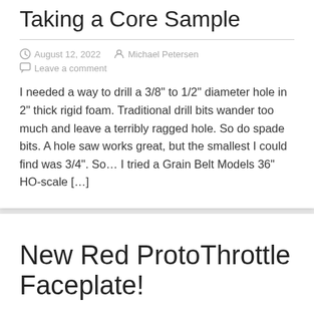Taking a Core Sample
August 12, 2022   Michael Petersen
Leave a comment
I needed a way to drill a 3/8” to 1/2” diameter hole in 2” thick rigid foam. Traditional drill bits wander too much and leave a terribly ragged hole. So do spade bits. A hole saw works great, but the smallest I could find was 3/4”. So… I tried a Grain Belt Models 36” HO-scale […]
New Red ProtoThrottle Faceplate!